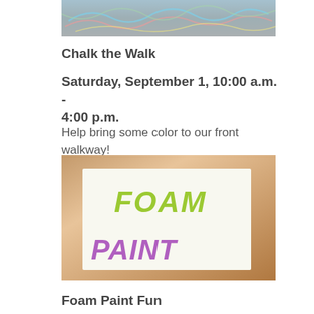[Figure (photo): Chalk art on a sidewalk walkway with colorful chalked designs]
Chalk the Walk
Saturday, September 1, 10:00 a.m. - 4:00 p.m.
Help bring some color to our front walkway!
[Figure (photo): Foam paint letters spelling FOAM in green and PAINT in purple on white paper]
Foam Paint Fun
Tuesday, September 4, 3:00-6:00 p.m.